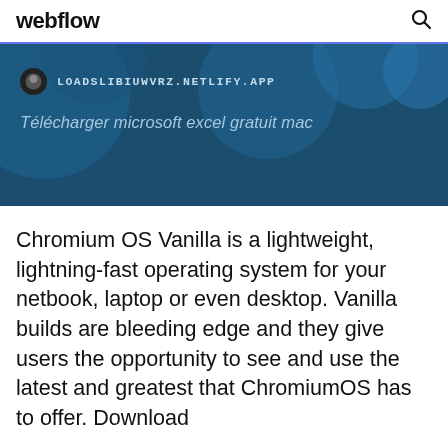webflow
[Figure (screenshot): Dark blue banner with map-like blob shapes in background, showing a favicon icon and URL LOADSLIBIUWVRZ.NETLIFY.APP in monospace, and italic text 'Télécharger microsoft excel gratuit mac' below]
Chromium OS Vanilla is a lightweight, lightning-fast operating system for your netbook, laptop or even desktop. Vanilla builds are bleeding edge and they give users the opportunity to see and use the latest and greatest that ChromiumOS has to offer. Download